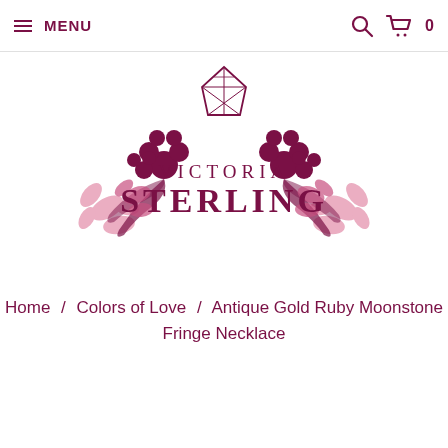≡ MENU
[Figure (logo): Victoria Sterling jewelry brand logo with decorative floral scrollwork and diamond motif in pink and dark rose colors]
Home / Colors of Love / Antique Gold Ruby Moonstone Fringe Necklace